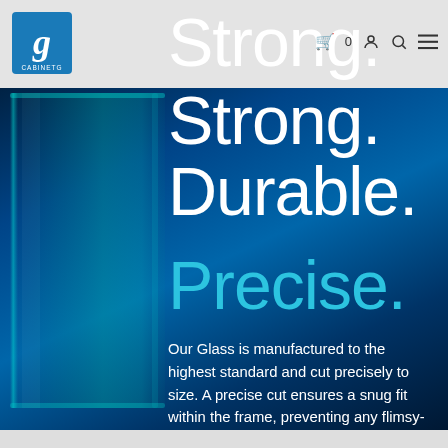Cabinetg logo — Strong. Durable. Precise. — navigation bar with cart, user, search, menu icons
[Figure (illustration): Glass panel product hero image with blue gradient background and glass sheet graphic on left side]
Strong. Durable. Precise.
Our Glass is manufactured to the highest standard and cut precisely to size. A precise cut ensures a snug fit within the frame, preventing any flimsy-ness in the overall build.